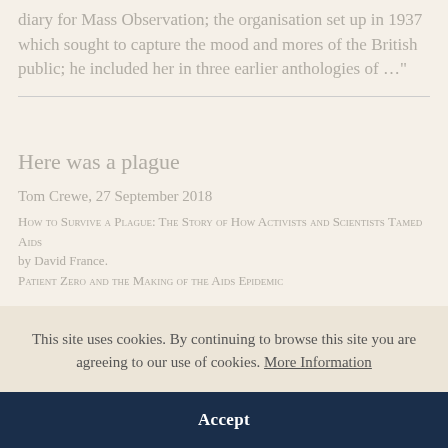diary for Mass Observation; the organisation set up in 1937 which sought to capture the mood and mores of the British public; he included her in three earlier anthologies of …"
Here was a plague
Tom Crewe, 27 September 2018
How to Survive a Plague: The Story of How Activists and Scientists Tamed Aids by David France.
Patient Zero and the Making of the Aids Epidemic
This site uses cookies. By continuing to browse this site you are agreeing to our use of cookies. More Information
Accept